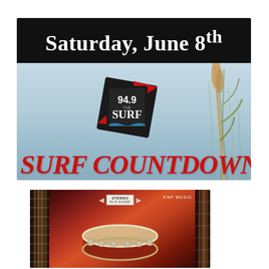[Figure (illustration): Top promotional banner for '94.9 The Surf' radio station. Black bar at top with white text 'Saturday, June 8th'. Below is a beach/outdoor photo background with the 94.9 The Surf radio station logo (red diamond/triangle shape with white text) and large red italic text reading 'SURF COUNTDOWN' at the bottom.]
[Figure (illustration): Bottom album art image with dark red/orange drum kit illustration. Top left shows 'STEREO HI-FI SOUND' badge with arrows. Top right shows 'KNP MUSIC' text. Background is dark maroon with orange/red drum set visible.]